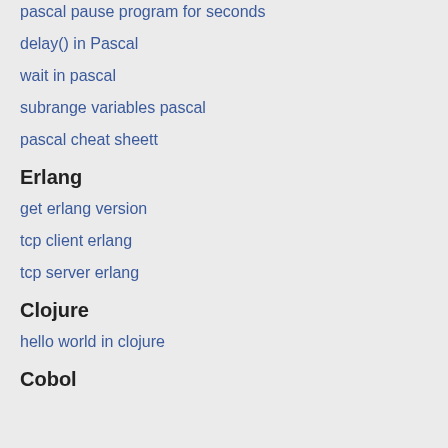pascal pause program for seconds
delay() in Pascal
wait in pascal
subrange variables pascal
pascal cheat sheett
Erlang
get erlang version
tcp client erlang
tcp server erlang
Clojure
hello world in clojure
Cobol